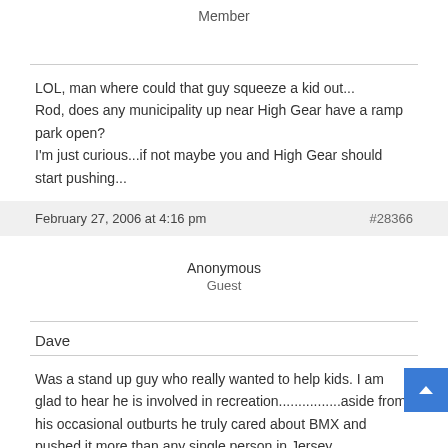Member
LOL, man where could that guy squeeze a kid out...
Rod, does any municipality up near High Gear have a ramp park open?
I'm just curious...if not maybe you and High Gear should start pushing...
February 27, 2006 at 4:16 pm
#28366
Anonymous
Guest
Dave
Was a stand up guy who really wanted to help kids. I am glad to hear he is involved in recreation................aside from his occasional outburts he truly cared about BMX and pushed it more than any single person in Jersey....................
Greg